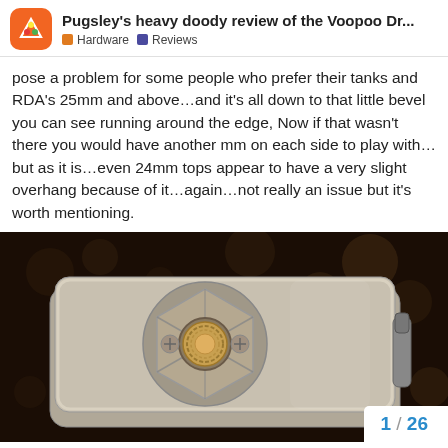Pugsley's heavy doody review of the Voopoo Dr... | Hardware | Reviews
pose a problem for some people who prefer their tanks and RDA's 25mm and above…and it's all down to that little bevel you can see running around the edge, Now if that wasn't there you would have another mm on each side to play with…but as it is…even 24mm tops appear to have a very slight overhang because of it…again…not really an issue but it's worth mentioning.
[Figure (photo): Close-up photo of the top of a silver/chrome vape mod device showing the 510 connection pin/threading, set against a dark bokeh background. The device shows a hexagonal decorative plate with cross-hatch lines and a threaded center connector.]
1 / 26